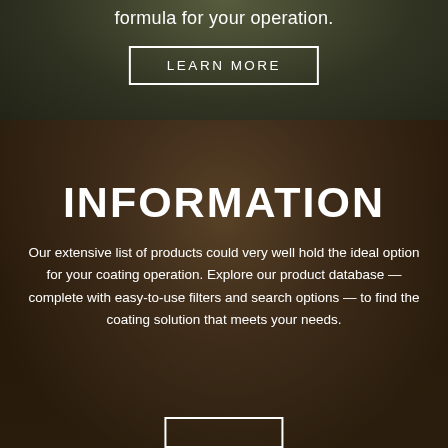[Figure (photo): Dark background photo of a person or industrial scene with green/olive tones, partially visible at top]
formula for your operation.
LEARN MORE
[Figure (photo): Close-up photo of laboratory or coating products on a shelf, warm brown/amber tones]
INFORMATION
Our extensive list of products could very well hold the ideal option for your coating operation. Explore our product database — complete with easy-to-use filters and search options — to find the coating solution that meets your needs.